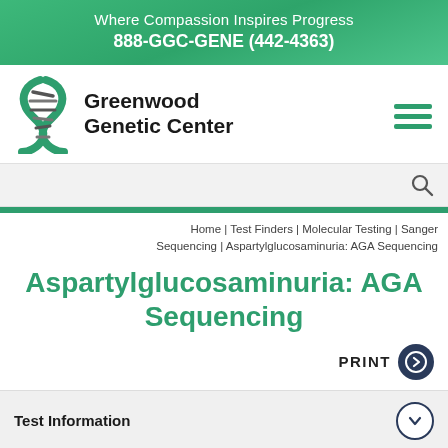Where Compassion Inspires Progress
888-GGC-GENE (442-4363)
[Figure (logo): Greenwood Genetic Center logo with DNA helix graphic]
Greenwood Genetic Center
[Figure (other): Hamburger menu icon]
[Figure (other): Search bar with magnifying glass icon]
Home | Test Finders | Molecular Testing | Sanger Sequencing | Aspartylglucosaminuria: AGA Sequencing
Aspartylglucosaminuria: AGA Sequencing
PRINT
Test Information